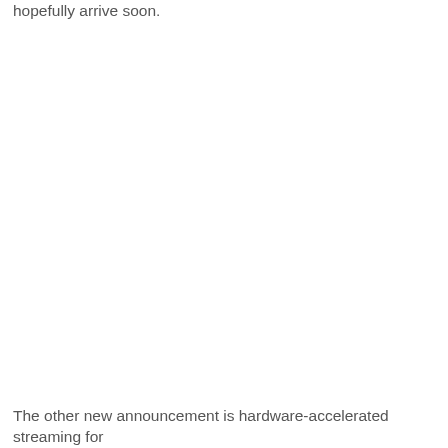hopefully arrive soon.
The other new announcement is hardware-accelerated streaming for